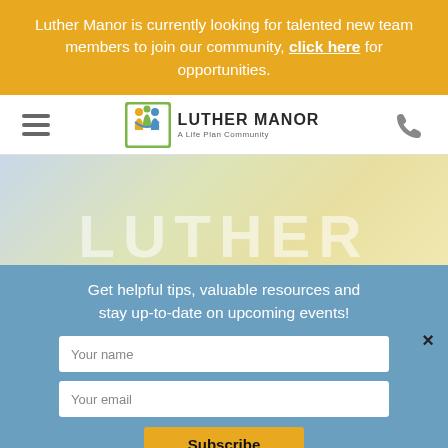Luther Manor is currently looking for talented new team members to join our community, click here for opportunities.
[Figure (logo): Luther Manor A Life Plan Community logo with hamburger menu icon and phone icon in navigation bar]
[Figure (illustration): Gradient hero background with large watermark text 'LUTHER' in white]
Get helpful tips, valuable resources and stay up-to-date on upcoming events!
Your name
Your email
Subscribe